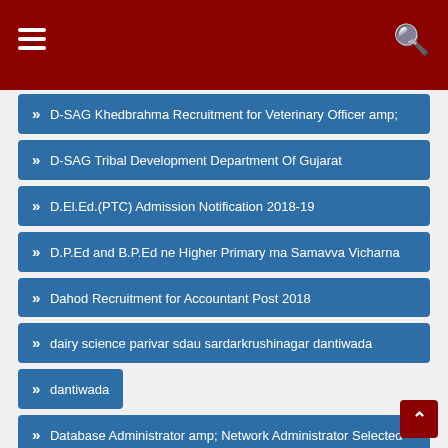Menu | Search
» D-SAG Khedbrahma Recruitment for Veterinary Officer amp;
» D-SAG Tribal Development Department Of Gujarat
» D.El.Ed.(PTC) Admission Notification 2018-19
» D.P.Ed and B.P.Ed ne Higher Primary ma Samavva Vicharna
» Dahod Recruitment for Accountant Post 2018
» dairy science parivar sdau sardarkrushinagar dantiwada
» dantiwada
» Database Administrator amp; Network Administrator Selected
» Dean amp; Defence Banking Advisor Posts 2018
» Deendayal Port Trust (DPT)
» Deendayal Port Trust (DPT) Junior Clerk and Junior Engineer (Civil)
» Deendayal Port Trust (DPT) Junior Clerk and Junior Engineer (Civil)
» Deendayal Port Trust (DPT) (partially visible)